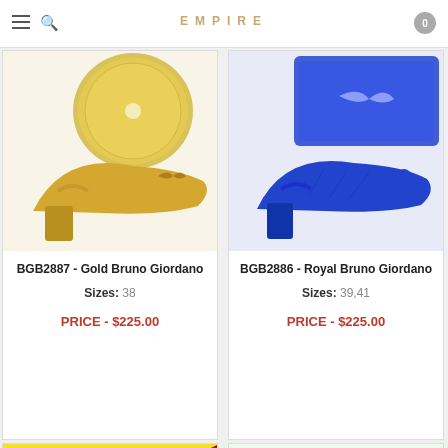EMPIRE
[Figure (photo): Gold Bruno Giordano slingback heeled shoe with matching round gold clutch bag, flower embellishment]
BGB2887 - Gold Bruno Giordano
Sizes: 38
PRICE - $225.00
[Figure (photo): Royal blue Bruno Giordano slingback heeled shoe with matching blue rectangular clutch bag, bow embellishment]
BGB2886 - Royal Bruno Giordano
Sizes: 39,41
PRICE - $225.00
[Figure (photo): Yellow Bruno Giordano shoe with SOLD OUT banner overlay]
[Figure (photo): Green clutch/accessory item]